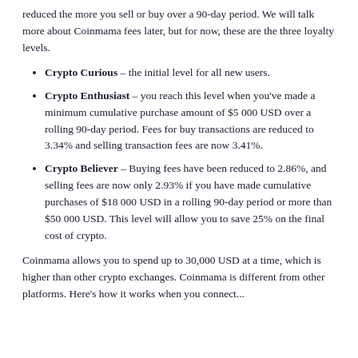reduced the more you sell or buy over a 90-day period. We will talk more about Coinmama fees later, but for now, these are the three loyalty levels.
Crypto Curious – the initial level for all new users.
Crypto Enthusiast – you reach this level when you've made a minimum cumulative purchase amount of $5 000 USD over a rolling 90-day period. Fees for buy transactions are reduced to 3.34% and selling transaction fees are now 3.41%.
Crypto Believer – Buying fees have been reduced to 2.86%, and selling fees are now only 2.93% if you have made cumulative purchases of $18 000 USD in a rolling 90-day period or more than $50 000 USD. This level will allow you to save 25% on the final cost of crypto.
Coinmama allows you to spend up to 30,000 USD at a time, which is higher than other crypto exchanges. Coinmama is different from other platforms. Here's how it works when you connect...